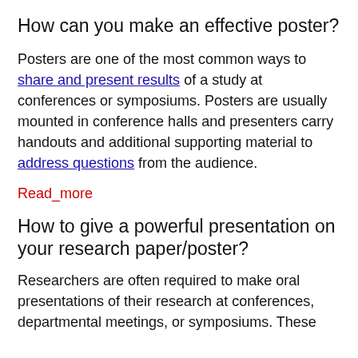How can you make an effective poster?
Posters are one of the most common ways to share and present results of a study at conferences or symposiums. Posters are usually mounted in conference halls and presenters carry handouts and additional supporting material to address questions from the audience.
Read_more
How to give a powerful presentation on your research paper/poster?
Researchers are often required to make oral presentations of their research at conferences, departmental meetings, or symposiums. These